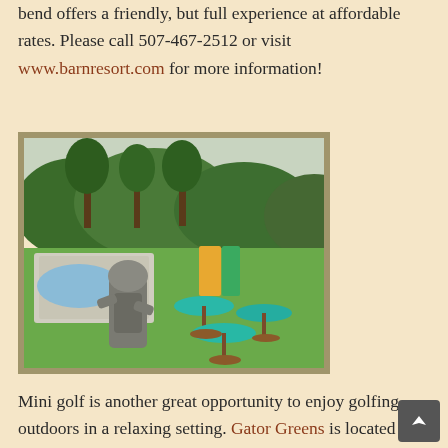bend offers a friendly, but full experience at affordable rates. Please call 507-467-2512 or visit www.barnresort.com for more information!
[Figure (photo): Outdoor photo showing a mini golf course with teal/turquoise umbrellas on brown bases, a large stone/concrete gator or dinosaur statue in the foreground, green lawn, trees and hills in the background.]
Mini golf is another great opportunity to enjoy golfing outdoors in a relaxing setting. Gator Greens is located in the heart of beautiful Bluff Country just 4 miles East of Lanesboro.